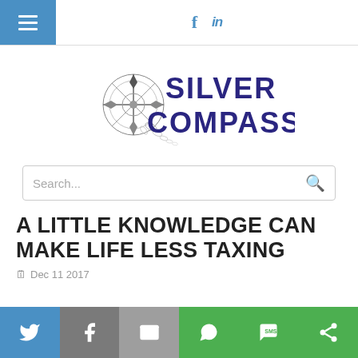Silver Compass — navigation and social header
[Figure (logo): Silver Compass logo with compass rose illustration and decorative scrollwork. Text reads SILVER COMPASS in dark navy blue.]
Search...
A LITTLE KNOWLEDGE CAN MAKE LIFE LESS TAXING
Dec 11 2017
Share bar with Twitter, Facebook, Email, WhatsApp, SMS, More buttons